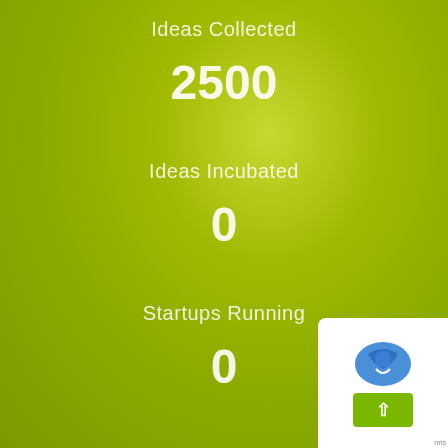Ideas Collected
2500
Ideas Incubated
0
Startups Running
0